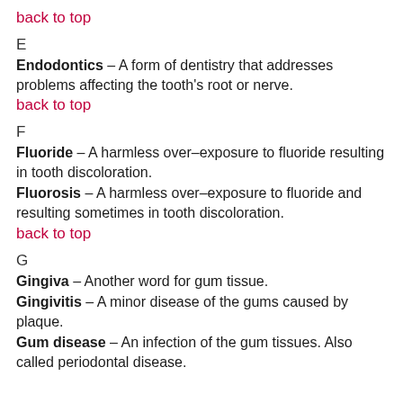back to top
E
Endodontics – A form of dentistry that addresses problems affecting the tooth's root or nerve.
back to top
F
Fluoride – A harmless over–exposure to fluoride resulting in tooth discoloration.
Fluorosis – A harmless over–exposure to fluoride and resulting sometimes in tooth discoloration.
back to top
G
Gingiva – Another word for gum tissue.
Gingivitis – A minor disease of the gums caused by plaque.
Gum disease – An infection of the gum tissues. Also called periodontal disease.